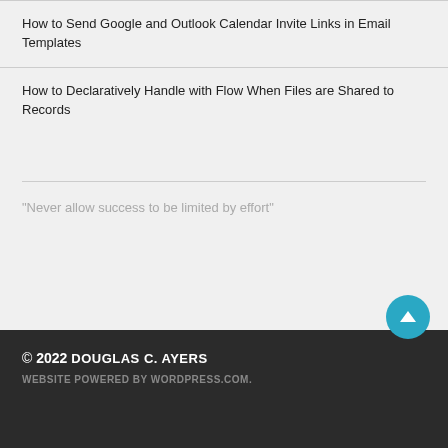How to Send Google and Outlook Calendar Invite Links in Email Templates
How to Declaratively Handle with Flow When Files are Shared to Records
"Never allow success to be limited by effort"
© 2022 DOUGLAS C. AYERS
WEBSITE POWERED BY WORDPRESS.COM.